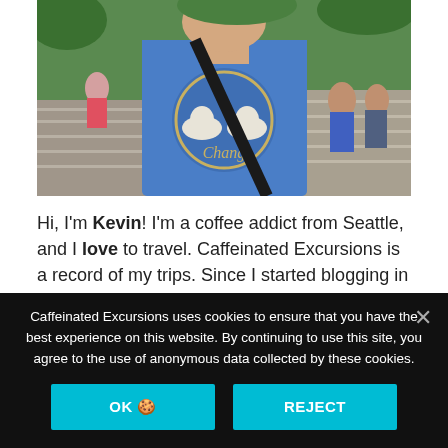[Figure (photo): A person wearing a blue Chang beer tank top with a black crossbody bag strap, photographed from chest up outdoors. Steps and other people visible in background.]
Hi, I'm Kevin! I'm a coffee addict from Seattle, and I love to travel. Caffeinated Excursions is a record of my trips. Since I started blogging in January 2018, I've lived in
Caffeinated Excursions uses cookies to ensure that you have the best experience on this website. By continuing to use this site, you agree to the use of anonymous data collected by these cookies.